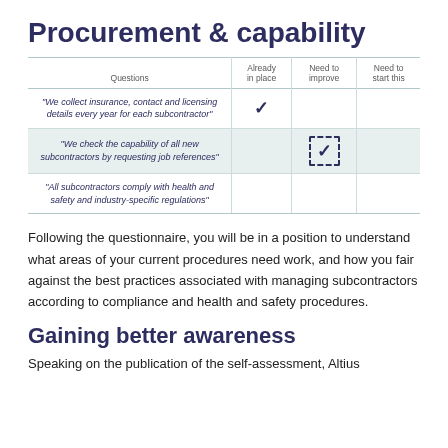Procurement & capability
| Questions | Already in place | Need to improve | Need to start this |
| --- | --- | --- | --- |
| "We collect insurance, contact and licensing details every year for each subcontractor" | ✓ |  |  |
| "We check the capability of all new subcontractors by requesting job references" |  | ✓ |  |
| "All subcontractors comply with health and safety and industry-specific regulations" |  |  |  |
Following the questionnaire, you will be in a position to understand what areas of your current procedures need work, and how you fair against the best practices associated with managing subcontractors according to compliance and health and safety procedures.
Gaining better awareness
Speaking on the publication of the self-assessment, Altius